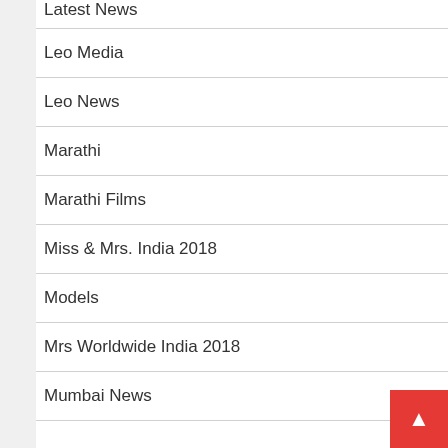Latest News
Leo Media
Leo News
Marathi
Marathi Films
Miss & Mrs. India 2018
Models
Mrs Worldwide India 2018
Mumbai News